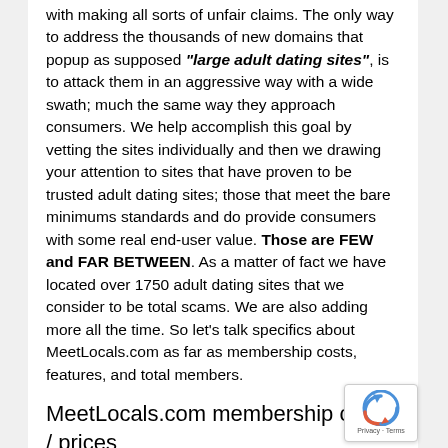with making all sorts of unfair claims. The only way to address the thousands of new domains that popup as supposed "large adult dating sites", is to attack them in an aggressive way with a wide swath; much the same way they approach consumers. We help accomplish this goal by vetting the sites individually and then we drawing your attention to sites that have proven to be trusted adult dating sites; those that meet the bare minimums standards and do provide consumers with some real end-user value. Those are FEW and FAR BETWEEN. As a matter of fact we have located over 1750 adult dating sites that we consider to be total scams. We are also adding more all the time. So let's talk specifics about MeetLocals.com as far as membership costs, features, and total members.
MeetLocals.com membership costs / prices
Priced for memberships on MeetLocals.com were offered at different price ranges depending on from what country we tested this site. In the UK and the US the difference was minimal but it reflected some testing on